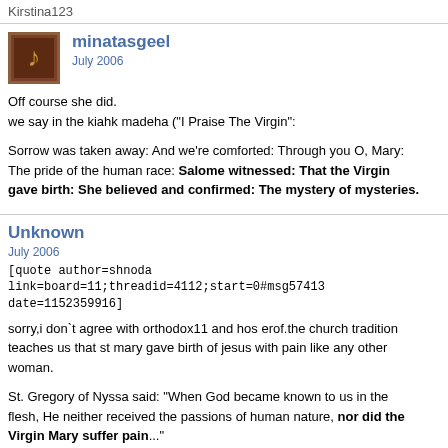Kirstina123
minatasgeel
July 2006
Off course she did.
we say in the kiahk madeha ("I Praise The Virgin":
Sorrow was taken away: And we're comforted: Through you O, Mary: The pride of the human race: Salome witnessed: That the Virgin gave birth: She believed and confirmed: The mystery of mysteries.
Unknown
July 2006
[quote author=shnoda link=board=11;threadid=4112;start=0#msg57413 date=1152359916]
sorry,i don`t agree with orthodox11 and hos erof.the church tradition teaches us that st mary gave birth of jesus with pain like any other woman.
St. Gregory of Nyssa said: "When God became known to us in the flesh, He neither received the passions of human nature, nor did the Virgin Mary suffer pain..."
From The Life of the Virgin Mary, The Theotokos, by Holy Apostles